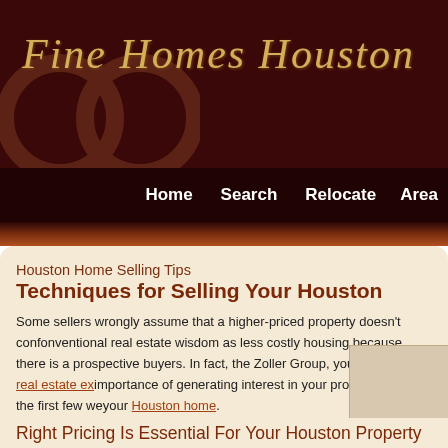Fine Homes Houston
Home   Search   Relocate   Area
Houston Home Selling Tips
Techniques for Selling Your Houston
Some sellers wrongly assume that a higher-priced property doesn't conform to conventional real estate wisdom as less costly housing because there is a prospective buyers. In fact, the Zoller Group, your Houston real estate ex... importance of generating interest in your property within the first few we... your Houston home.
Right Pricing Is Essential For Your Houston Property